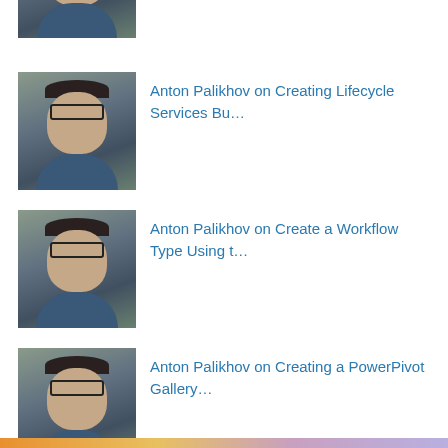[Figure (photo): Partial avatar photo of Anton Palikhov at top of page, cropped]
Anton Palikhov on Creating Lifecycle Services Bu…
Anton Palikhov on Create a Workflow Type Using t…
Anton Palikhov on Creating a PowerPivot Gallery…
Anton Palikhov on Using PowerPivot to Create Dyn…
Privacy & Cookies: This site uses cookies. By continuing to use this website, you agree to their use.
To find out more, including how to control cookies, see here: Cookie Policy
Close and accept